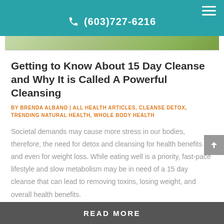(603)727-6216
Getting to Know About 15 Day Cleanse and Why It is Called A Powerful Cleansing
BY BRENDA ALBANO | ALL HEALTH ARTICLES, CLEANSE DETOX, TRENDING NATURAL HEALTH, WHOLE BODY HEALTH
Societal demands may cause more stress in our bodies, therefore, the need for detox and cleansing for health benefits and even for weight loss. While eating well is a priority, fast-pace lifestyle and slow metabolism may be in need of a 15 day cleanse that can lead to removing toxins, losing weight, and overall health benefits.
READ MORE